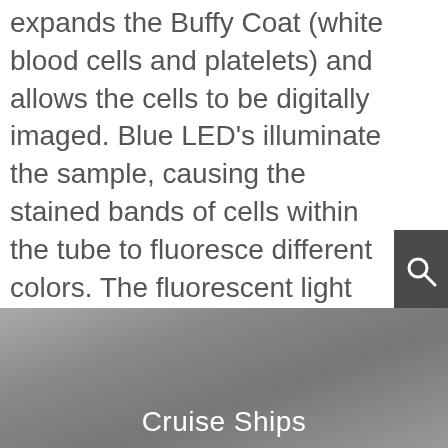expands the Buffy Coat (white blood cells and platelets) and allows the cells to be digitally imaged. Blue LED's illuminate the sample, causing the stained bands of cells within the tube to fluoresce different colors. The fluorescent light then travels to the camera, where the digital image is captured and the cell counts, hematocrit, and hemoglobin are measured.
[Figure (other): Dark grey search icon box with magnifying glass symbol on the right side of the page]
[Figure (other): Grey navigation dots panel with three white circular dots on the right side of the page]
[Figure (photo): Greyscale photo background of what appears to be a misty or cloudy scene, likely related to cruise ships]
Cruise Ships